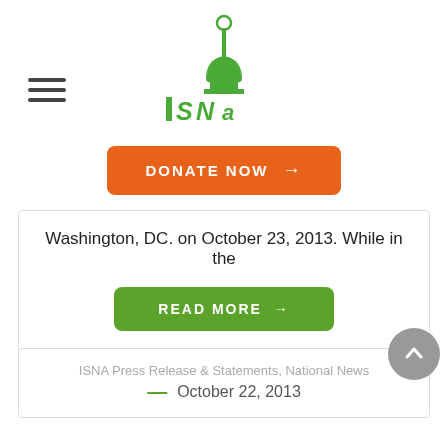[Figure (logo): ISNA logo — green minaret/mosque silhouette with 'ISNA' text in green stylized lettering]
[Figure (other): Hamburger menu icon — three horizontal lines on left side]
DONATE NOW →
Washington, DC. on October 23, 2013. While in the
READ MORE →
ISNA Press Release & Statements, National News
— October 22, 2013